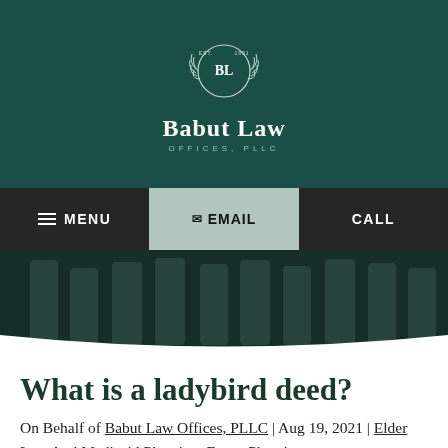[Figure (logo): Babut Law Offices PLLC logo with laurel wreath badge and firm name on dark teal background]
MENU | Email | CALL
[Figure (photo): Dark hero image showing classical stone columns on a dark teal/green background with a white curved bottom edge]
What is a ladybird deed?
On Behalf of Babut Law Offices, PLLC | Aug 19, 2021 | Elder Law And Medicaid Planning, Estate Planning